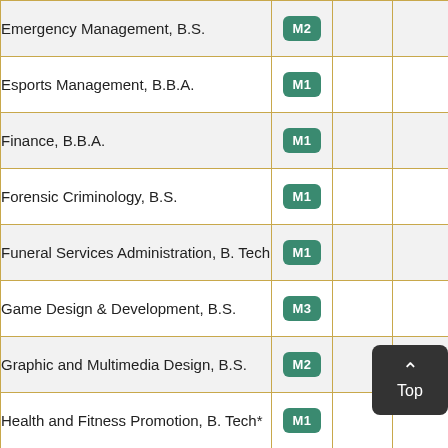| Program | Mode |  |  |
| --- | --- | --- | --- |
| Emergency Management, B.S. | M2 |  |  |
| Esports Management, B.B.A. | M1 |  |  |
| Finance, B.B.A. | M1 |  |  |
| Forensic Criminology, B.S. | M1 |  |  |
| Funeral Services Administration, B. Tech | M1 |  |  |
| Game Design & Development, B.S. | M3 |  |  |
| Graphic and Multimedia Design, B.S. | M2 |  |  |
| Health and Fitness Promotion, B. Tech* | M1 |  |  |